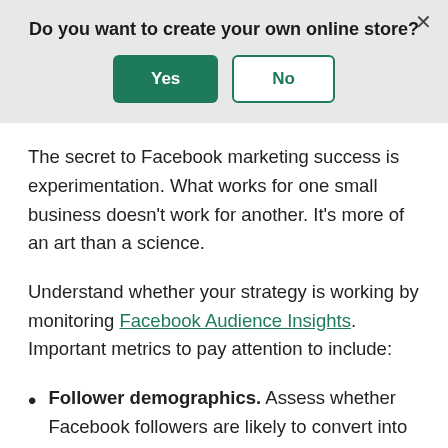[Figure (screenshot): Modal dialog asking 'Do you want to create your own online store?' with a green 'Yes' button and an outlined 'No' button, and a close (X) button in the top right.]
The secret to Facebook marketing success is experimentation. What works for one small business doesn't work for another. It's more of an art than a science.
Understand whether your strategy is working by monitoring Facebook Audience Insights. Important metrics to pay attention to include:
Follower demographics. Assess whether Facebook followers are likely to convert into potential customers by comparing them